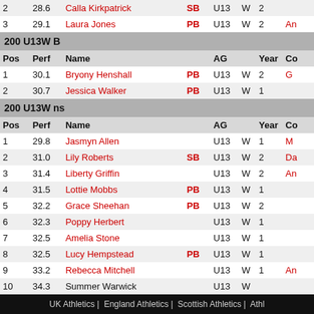| Pos | Perf | Name |  | AG |  | Year | Co |
| --- | --- | --- | --- | --- | --- | --- | --- |
| 2 | 28.6 | Calla Kirkpatrick | SB | U13 | W | 2 |  |
| 3 | 29.1 | Laura Jones | PB | U13 | W | 2 | An |
200 U13W B
| Pos | Perf | Name |  | AG |  | Year | Co |
| --- | --- | --- | --- | --- | --- | --- | --- |
| 1 | 30.1 | Bryony Henshall | PB | U13 | W | 2 | G |
| 2 | 30.7 | Jessica Walker | PB | U13 | W | 1 |  |
200 U13W ns
| Pos | Perf | Name |  | AG |  | Year | Co |
| --- | --- | --- | --- | --- | --- | --- | --- |
| 1 | 29.8 | Jasmyn Allen |  | U13 | W | 1 | M |
| 2 | 31.0 | Lily Roberts | SB | U13 | W | 2 | Da |
| 3 | 31.4 | Liberty Griffin |  | U13 | W | 2 | An |
| 4 | 31.5 | Lottie Mobbs | PB | U13 | W | 1 |  |
| 5 | 32.2 | Grace Sheehan | PB | U13 | W | 2 |  |
| 6 | 32.3 | Poppy Herbert |  | U13 | W | 1 |  |
| 7 | 32.5 | Amelia Stone |  | U13 | W | 1 |  |
| 8 | 32.5 | Lucy Hempstead | PB | U13 | W | 1 |  |
| 9 | 33.2 | Rebecca Mitchell |  | U13 | W | 1 | An |
| 10 | 34.3 | Summer Warwick |  | U13 | W |  |  |
UK Athletics | England Athletics | Scottish Athletics | Athl